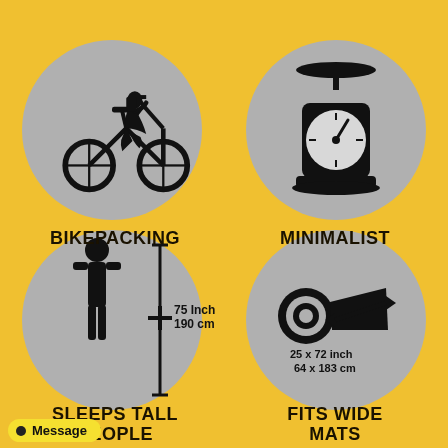[Figure (infographic): Four circular icons on yellow background. Top-left: cyclist silhouette (bikepacking). Top-right: weighing scale silhouette (minimalist). Bottom-left: person silhouette with height measurement 75 Inch / 190 cm (sleeps tall people). Bottom-right: rolled sleeping mat with arrows and dimensions 25 x 72 inch / 64 x 183 cm (fits wide mats).]
BIKEPACKING
MINIMALIST
SLEEPS TALL PEOPLE
FITS WIDE MATS